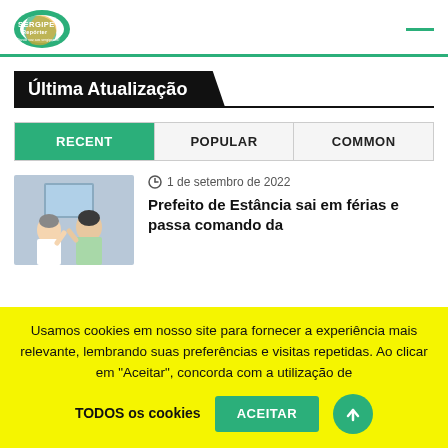Sergipe Repórter — logo and menu
Última Atualização
RECENT | POPULAR | COMMON
[Figure (photo): Two men posing together indoors, article thumbnail]
1 de setembro de 2022
Prefeito de Estância sai em férias e passa comando da
Usamos cookies em nosso site para fornecer a experiência mais relevante, lembrando suas preferências e visitas repetidas. Ao clicar em "Aceitar", concorda com a utilização de TODOS os cookies